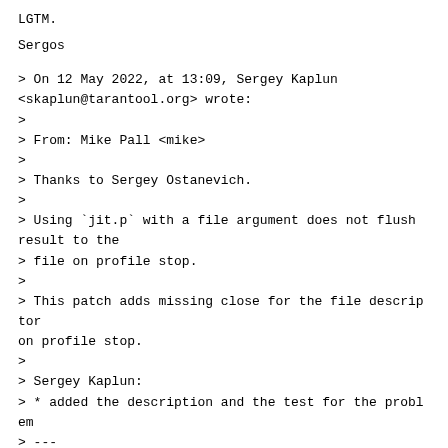LGTM.
Sergos
> On 12 May 2022, at 13:09, Sergey Kaplun <skaplun@tarantool.org> wrote:
>
> From: Mike Pall <mike>
>
> Thanks to Sergey Ostanevich.
>
> Using `jit.p` with a file argument does not flush result to the
> file on profile stop.
>
> This patch adds missing close for the file descriptor on profile stop.
>
> Sergey Kaplun:
> * added the description and the test for the problem
> ---
>
> LuaJIT PR: https://github.com/LuaJIT/LuaJIT/pull/726
> Branch:
https://github.com/tarantool/luajit/tree/skaplun/lj-726-profile-flush-close-full-ci
> Tarantool PR:
https://github.com/tarantool/tarantool/pull/7128
>